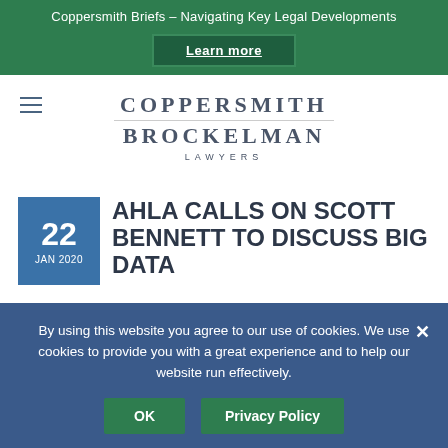Coppersmith Briefs – Navigating Key Legal Developments
[Figure (logo): Coppersmith Brockelman Lawyers law firm logo with text in serif font]
AHLA CALLS ON SCOTT BENNETT TO DISCUSS BIG DATA
22 JAN 2020
By using this website you agree to our use of cookies. We use cookies to provide you with a great experience and to help our website run effectively.